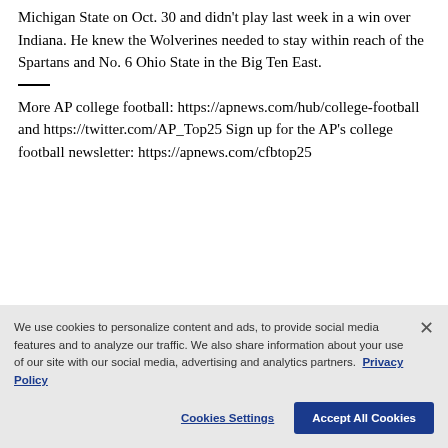Michigan State on Oct. 30 and didn't play last week in a win over Indiana. He knew the Wolverines needed to stay within reach of the Spartans and No. 6 Ohio State in the Big Ten East.
More AP college football: https://apnews.com/hub/college-football and https://twitter.com/AP_Top25 Sign up for the AP's college football newsletter: https://apnews.com/cfbtop25
We use cookies to personalize content and ads, to provide social media features and to analyze our traffic. We also share information about your use of our site with our social media, advertising and analytics partners. Privacy Policy
Cookies Settings    Accept All Cookies